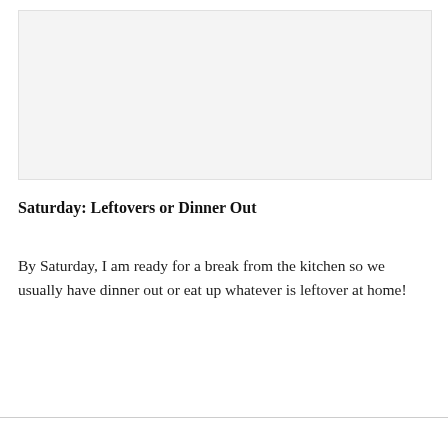[Figure (photo): Large image placeholder area (light gray background), appearing at the top of the page.]
Saturday: Leftovers or Dinner Out
By Saturday, I am ready for a break from the kitchen so we usually have dinner out or eat up whatever is leftover at home!